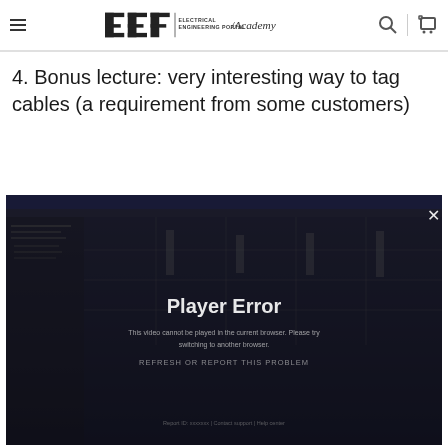EEP | ELECTRICAL ENGINEERING PORTAL / Academy
4. Bonus lecture: very interesting way to tag cables (a requirement from some customers)
[Figure (screenshot): Video player screenshot showing an engineering portal academy video with a 'Player Error' message overlay. The background shows a software interface with technical diagrams. A close (X) button appears in the top right corner.]